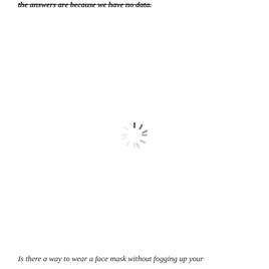the answers are because we have no data.
[Figure (other): Loading spinner / activity indicator in the center of the page]
Is there a way to wear a face mask without fogging up your